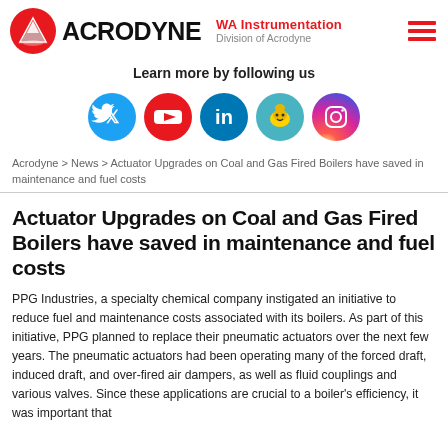ACRODYNE | WA Instrumentation Division of Acrodyne
Learn more by following us
[Figure (illustration): Social media icons: Twitter (blue), YouTube (red), LinkedIn (blue), Mailchimp (teal), Instagram (gradient purple/pink)]
Acrodyne > News > Actuator Upgrades on Coal and Gas Fired Boilers have saved in maintenance and fuel costs
Actuator Upgrades on Coal and Gas Fired Boilers have saved in maintenance and fuel costs
PPG Industries, a specialty chemical company instigated an initiative to reduce fuel and maintenance costs associated with its boilers. As part of this initiative, PPG planned to replace their pneumatic actuators over the next few years. The pneumatic actuators had been operating many of the forced draft, induced draft, and over-fired air dampers, as well as fluid couplings and various valves. Since these applications are crucial to a boiler's efficiency, it was important that